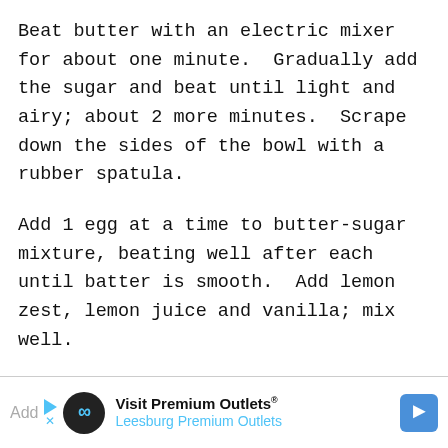Beat butter with an electric mixer for about one minute.  Gradually add the sugar and beat until light and airy; about 2 more minutes.  Scrape down the sides of the bowl with a rubber spatula.
Add 1 egg at a time to butter-sugar mixture, beating well after each until batter is smooth.  Add lemon zest, lemon juice and vanilla; mix well.
Add  [Ad] Visit Premium Outlets® Leesburg Premium Outlets